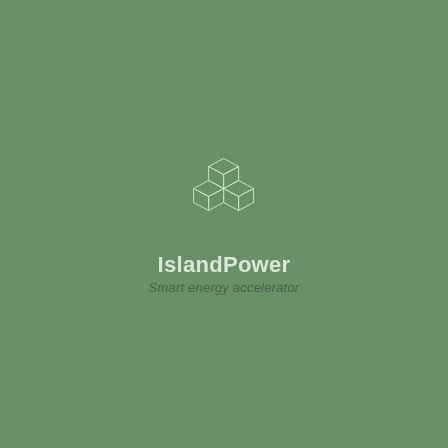[Figure (logo): IslandPower company logo: three white outline cubes arranged in a triangular cluster (one on top, two on bottom), above the bold text 'IslandPower' and italic tagline 'Smart energy accelerator', centered on a muted green background.]
IslandPower
Smart energy accelerator